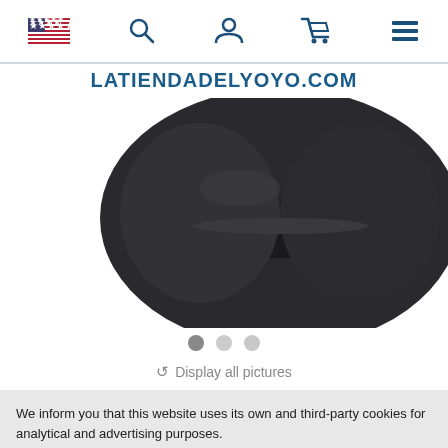[Figure (screenshot): Website header with US flag, search icon, user icon, cart icon, and hamburger menu icon on white background]
LATIENDADELYOYO.com
[Figure (photo): Close-up product photo of a dark/black yoyo against white background]
[Figure (infographic): Carousel dots indicator: three dots, first filled dark, second and third light gray]
Display all pictures
We inform you that this website uses its own and third-party cookies for analytical and advertising purposes. You can find out more about what cookies we are using by clicking on Settings about cookies.
Configure
Accept all
Rechazar todas